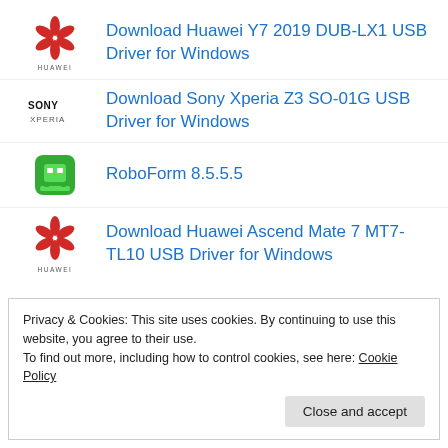Download Huawei Y7 2019 DUB-LX1 USB Driver for Windows
Download Sony Xperia Z3 SO-01G USB Driver for Windows
RoboForm 8.5.5.5
Download Huawei Ascend Mate 7 MT7-TL10 USB Driver for Windows
Privacy & Cookies: This site uses cookies. By continuing to use this website, you agree to their use.
To find out more, including how to control cookies, see here: Cookie Policy